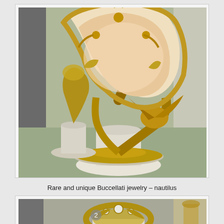[Figure (photo): Photograph of a rare and unique Buccellati nautilus cup – an ornate gold and shell decorative object on a sculpted fish-form stem, displayed on a white pedestal in a museum setting.]
Rare and unique Buccellati jewelry – nautilus
[Figure (photo): Photograph of another piece of Buccellati jewelry – partial view of an ornate gold decorative object with scrollwork and pearl details, displayed in a museum setting.]